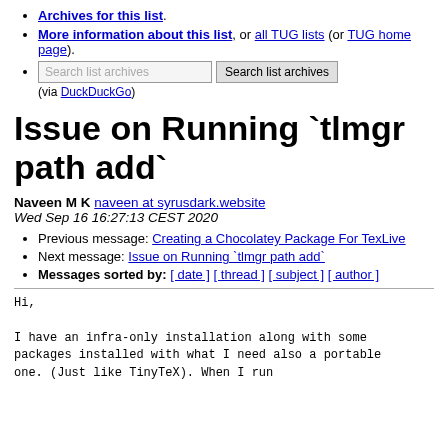Archives for this list.
More information about this list, or all TUG lists (or TUG home page).
Search list archives [input] Search list archives (via DuckDuckGo)
Issue on Running `tlmgr path add`
Naveen M K naveen at syrusdark.website
Wed Sep 16 16:27:13 CEST 2020
Previous message: Creating a Chocolatey Package For TexLive
Next message: Issue on Running `tlmgr path add`
Messages sorted by: [ date ] [ thread ] [ subject ] [ author ]
Hi,

I have an infra-only installation along with some
packages installed with what I need also a portable
one. (Just like TinyTeX). When I run